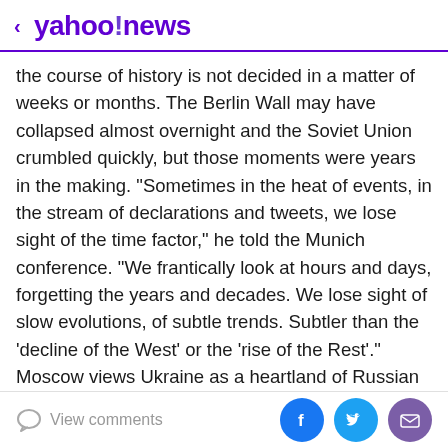< yahoo!news
the course of history is not decided in a matter of weeks or months. The Berlin Wall may have collapsed almost overnight and the Soviet Union crumbled quickly, but those moments were years in the making. "Sometimes in the heat of events, in the stream of declarations and tweets, we lose sight of the time factor," he told the Munich conference. "We frantically look at hours and days, forgetting the years and decades. We lose sight of slow evolutions, of subtle trends. Subtler than the 'decline of the West' or the 'rise of the Rest'." Moscow views Ukraine as a heartland of Russian culture and identity, a country that should never have left the Soviet Union. Russia remains Ukraine's biggest trading partner.
View comments